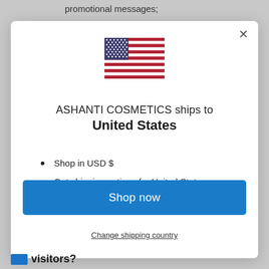promotional messages;
[Figure (screenshot): Modal dialog showing a US flag, text 'ASHANTI COSMETICS ships to United States', bullet points for USD and shipping, a blue 'Shop now' button, and a 'Change shipping country' link]
visitors?